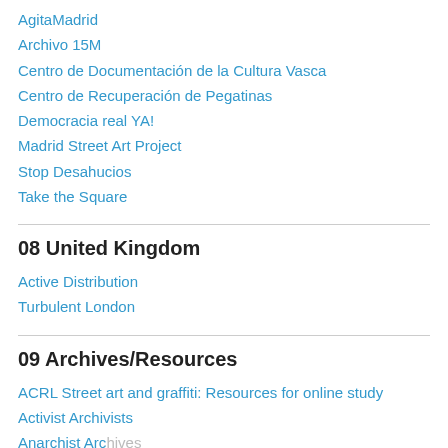AgitaMadrid
Archivo 15M
Centro de Documentación de la Cultura Vasca
Centro de Recuperación de Pegatinas
Democracia real YA!
Madrid Street Art Project
Stop Desahucios
Take the Square
08 United Kingdom
Active Distribution
Turbulent London
09 Archives/Resources
ACRL Street art and graffiti: Resources for online study
Activist Archivists
Anarchist Archives